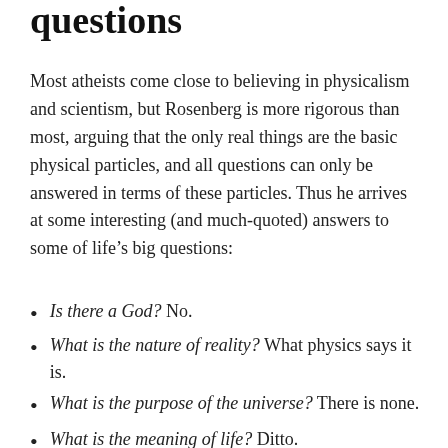questions
Most atheists come close to believing in physicalism and scientism, but Rosenberg is more rigorous than most, arguing that the only real things are the basic physical particles, and all questions can only be answered in terms of these particles. Thus he arrives at some interesting (and much-quoted) answers to some of life’s big questions:
Is there a God? No.
What is the nature of reality? What physics says it is.
What is the purpose of the universe? There is none.
What is the meaning of life? Ditto.